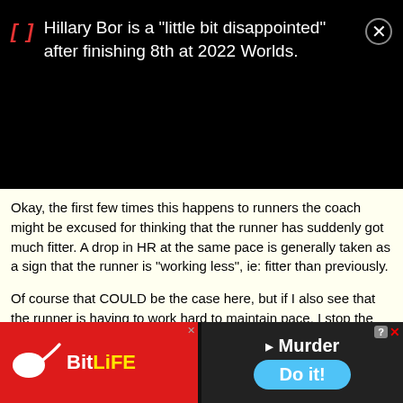Hillary Bor is a “little bit disappointed” after finishing 8th at 2022 Worlds.
Okay, the first few times this happens to runners the coach might be excused for thinking that the runner has suddenly got much fitter. A drop in HR at the same pace is generally taken as a sign that the runner is “working less”, ie: fitter than previously.
Of course that COULD be the case here, but if I also see that the runner is having to work hard to maintain pace, I stop the session. From experience we have learned that when such a situation occurs, (the HR “will not come up”) then it is because the runner has not fully refueled muscle glycogen from a previous training session, or (in some other way) has not fully recovered from previous training.
[Figure (screenshot): Advertisement banner at the bottom: left half shows BitLife game logo (red background, white sperm icon, yellow 'BitLife' text), right half shows 'Murder / Do it!' game prompt on dark background with blue button.]